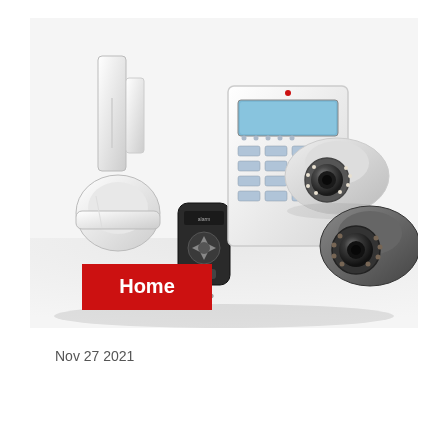[Figure (photo): Home security system product photo showing motion sensor, door contact sensor, alarm keypad panel with LCD display, key fob remote, and two dome CCTV cameras (one white, one dark gray) arranged on a white surface. A red badge with the word 'Home' overlays the lower-left of the image.]
Nov 27 2021